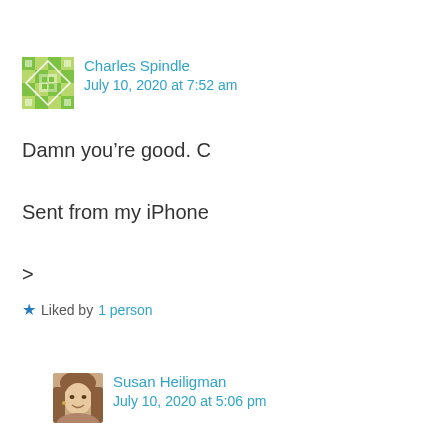Charles Spindle
July 10, 2020 at 7:52 am
Damn you're good. C

Sent from my iPhone

>
Liked by 1 person
Susan Heiligman
July 10, 2020 at 5:06 pm